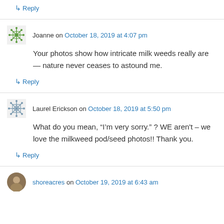↳ Reply
Joanne on October 18, 2019 at 4:07 pm
Your photos show how intricate milk weeds really are — nature never ceases to astound me.
↳ Reply
Laurel Erickson on October 18, 2019 at 5:50 pm
What do you mean, “I’m very sorry.” ? WE aren't – we love the milkweed pod/seed photos!! Thank you.
↳ Reply
shoreacres on October 19, 2019 at 6:43 am